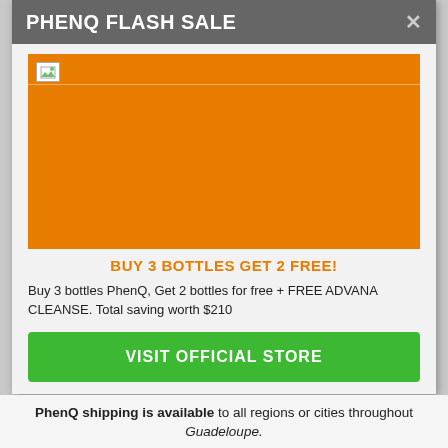PHENQ FLASH SALE
[Figure (illustration): Orange promotional banner image for PhenQ flash sale, partially broken/loading (shows broken image icon in top-left). Large orange rectangle filling the image area.]
BUY 3 BOTTLES GET 2 FREE!
Buy 3 bottles PhenQ, Get 2 bottles for free + FREE ADVANA CLEANSE. Total saving worth $210
VISIT OFFICIAL STORE
PhenQ shipping is available to all regions or cities throughout Guadeloupe.